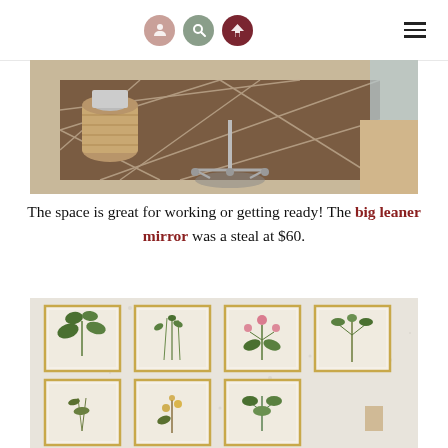Navigation header with icons and hamburger menu
[Figure (photo): Office space with a brown diamond-patterned rug, chrome rolling chair, and a wicker basket on a light wood floor]
The space is great for working or getting ready! The big leaner mirror was a steal at $60.
[Figure (photo): Gallery wall of framed botanical prints showing various plants and flowers arranged in two rows on a speckled gray/white textured wall]